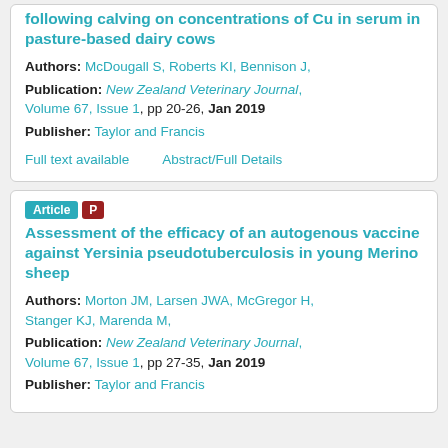following calving on concentrations of Cu in serum in pasture-based dairy cows
Authors: McDougall S, Roberts KI, Bennison J,
Publication: New Zealand Veterinary Journal, Volume 67, Issue 1, pp 20-26, Jan 2019
Publisher: Taylor and Francis
Full text available    Abstract/Full Details
Assessment of the efficacy of an autogenous vaccine against Yersinia pseudotuberculosis in young Merino sheep
Authors: Morton JM, Larsen JWA, McGregor H, Stanger KJ, Marenda M,
Publication: New Zealand Veterinary Journal, Volume 67, Issue 1, pp 27-35, Jan 2019
Publisher: Taylor and Francis